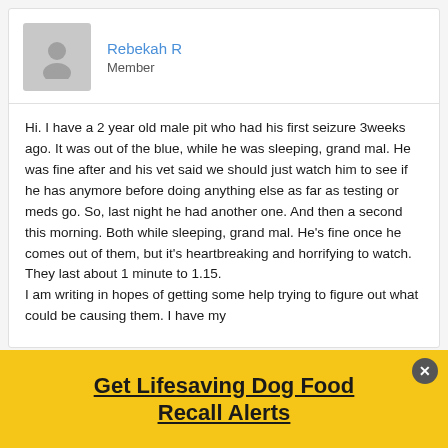Rebekah R
Member
Hi. I have a 2 year old male pit who had his first seizure 3weeks ago. It was out of the blue, while he was sleeping, grand mal. He was fine after and his vet said we should just watch him to see if he has anymore before doing anything else as far as testing or meds go. So, last night he had another one. And then a second this morning. Both while sleeping, grand mal. He’s fine once he comes out of them, but it’s heartbreaking and horrifying to watch. They last about 1 minute to 1.15.
I am writing in hopes of getting some help trying to figure out what could be causing them. I have my
Get Lifesaving Dog Food Recall Alerts